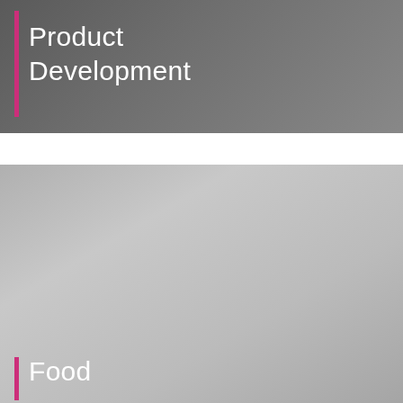Product Development
[Figure (photo): Large light grey rectangular image panel occupying the lower portion of the page]
Food